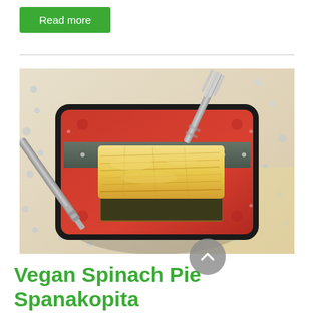Read more
[Figure (photo): A square piece of vegan spanakopita (Greek spinach pie) with golden flaky phyllo dough, served on a decorative red and black plate with a fork and knife, placed on a light floral tablecloth.]
Vegan Spinach Pie Spanakopita